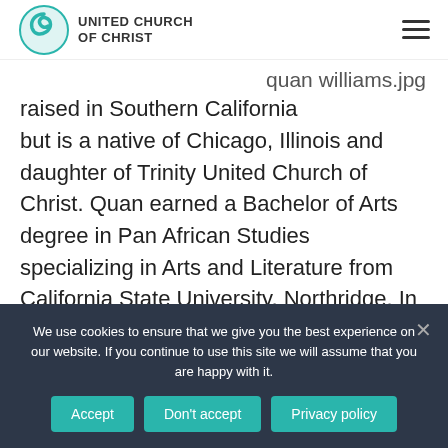[Figure (logo): United Church of Christ logo with teal swirl icon and text 'UNITED CHURCH OF CHRIST']
quan williams.jpg
raised in Southern California but is a native of Chicago, Illinois and daughter of Trinity United Church of Christ. Quan earned a Bachelor of Arts degree in Pan African Studies specializing in Arts and Literature from California State University, Northridge. In 2011, she graduated from the University of Illinois at
We use cookies to ensure that we give you the best experience on our website. If you continue to use this site we will assume that you are happy with it.
Accept | Don't accept | Privacy policy